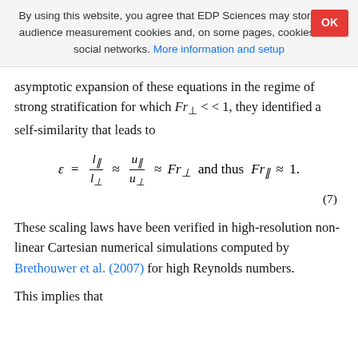By using this website, you agree that EDP Sciences may store web audience measurement cookies and, on some pages, cookies from social networks. More information and setup
asymptotic expansion of these equations in the regime of strong stratification for which Fr⊥ < < 1, they identified a self-similarity that leads to
These scaling laws have been verified in high-resolution non-linear Cartesian numerical simulations computed by Brethouwer et al. (2007) for high Reynolds numbers.
This implies that